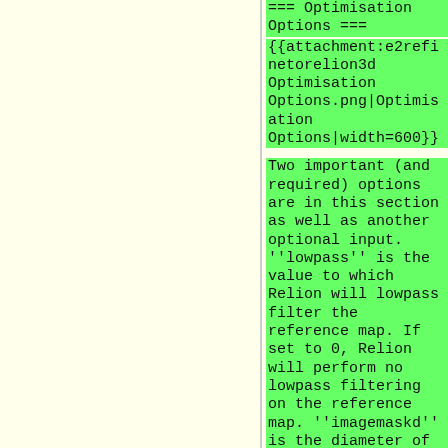=== Optimisation Options ===
{{attachment:e2refinetore lion3d Optimisation Options.png|Optimisation Options|width=600}}
Two important (and required) options are in this section as well as another optional input. ''lowpass'' is the value to which Relion will lowpass filter the reference map. If set to 0, Relion will perform no lowpass filtering on the reference map. ''imagemaskd'' is the diameter of a soft circular